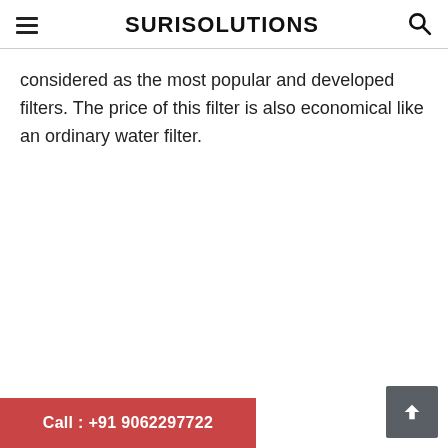SURISOLUTIONS
considered as the most popular and developed filters. The price of this filter is also economical like an ordinary water filter.
Call : +91 9062297722